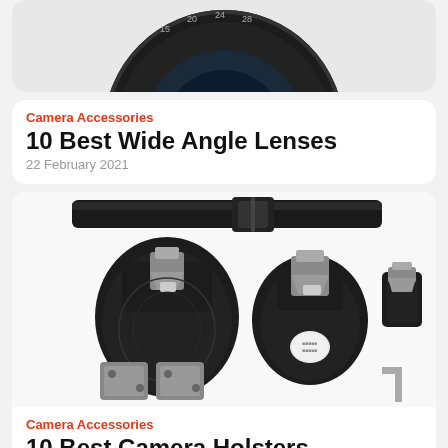[Figure (photo): Partial view of a camera lens from above, black, cropped at top of page]
Camera Accessories
10 Best Wide Angle Lenses
22 February 2021
[Figure (photo): Camera holster system with belt clip, multiple mounting plates, and quick-release hardware on white background]
Camera Accessories
10 Best Camera Holsters
12 May 2021